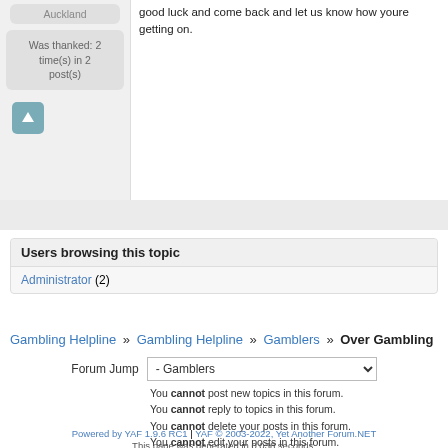Auckland
Was thanked: 2 time(s) in 2 post(s)
good luck and come back and let us know how youre getting on.
Users browsing this topic
Administrator (2)
Gambling Helpline » Gambling Helpline » Gamblers » Over Gambling
Forum Jump - Gamblers
You cannot post new topics in this forum.
You cannot reply to topics in this forum.
You cannot delete your posts in this forum.
You cannot edit your posts in this forum.
You cannot create polls in this forum.
You cannot vote in polls in this forum.
Powered by YAF 1.9.6 RC1 | YAF © 2003-2022, Yet Another Forum.NET
This page was generated in 0.038 seconds.